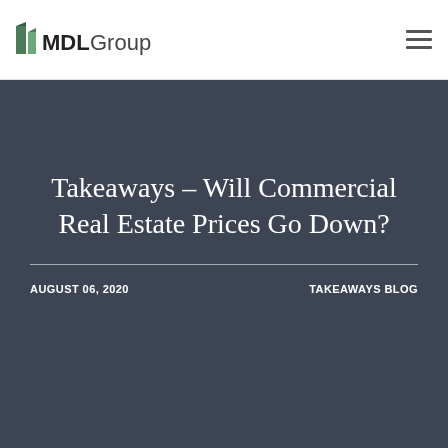MDLGroup [logo] [hamburger menu]
Takeaways – Will Commercial Real Estate Prices Go Down?
AUGUST 06, 2020
TAKEAWAYS BLOG